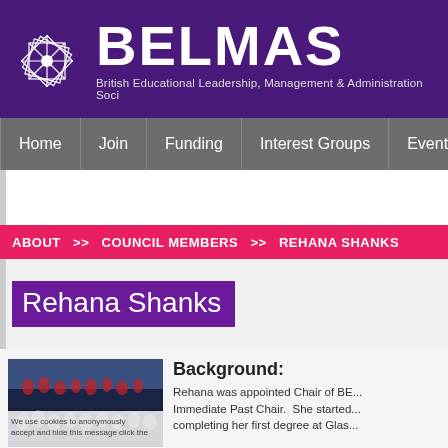[Figure (logo): BELMAS logo with geometric star pattern icon and text 'BELMAS' in large white bold lettering, subtitle 'British Educational Leadership, Management & Administration Soci...']
Home | Join | Funding | Interest Groups | Events
ABOUT >> COUNCIL MEMBERS >> REHANA SHANKS
Rehana Shanks
[Figure (photo): Photo of a large group of students/people in a hall, with a cookie consent overlay reading 'We use cookies to anonymously ... accept and hide this message click the']
Background:
Rehana was appointed Chair of BE... Immediate Past Chair.  She started... completing her first degree at Glas...